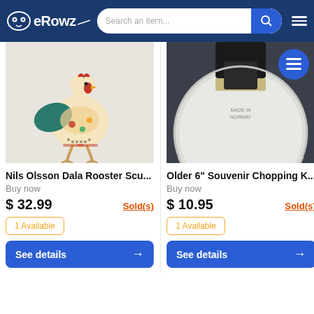eRowz — Search an item...
[Figure (photo): Nils Olsson Dala Rooster sculpture, painted wooden folk art rooster with teal, red and yellow decorations]
[Figure (photo): Older 6 inch Souvenir Chopping Knife with round blade on dark background]
Nils Olsson Dala Rooster Scu...
Older 6" Souvenir Chopping K...
Buy now
Buy now
$ 32.99
Sold(s)
$ 10.95
Sold(s)
1 Available
1 Available
See details
See details